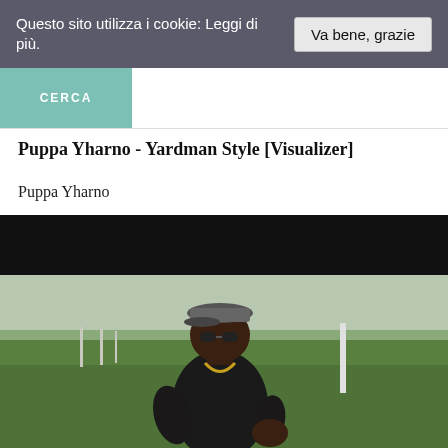Questo sito utilizza i cookie: Leggi di più.
Va bene, grazie
CERCA
Puppa Yharno - Yardman Style [Visualizer]
Puppa Yharno
[Figure (photo): Man wearing a checkered flat cap and sunglasses, standing in a green field with a landscape background. He is wearing a black tank top with a gold chain necklace.]